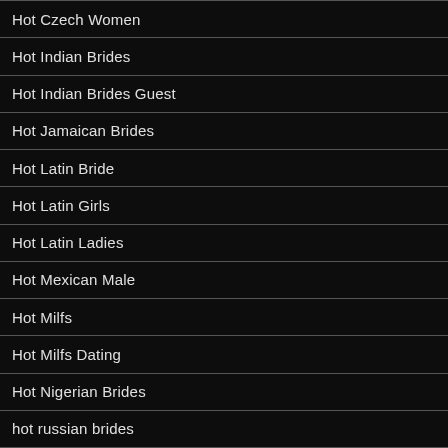Hot Czech Women
Hot Indian Brides
Hot Indian Brides Guest
Hot Jamaican Brides
Hot Latin Bride
Hot Latin Girls
Hot Latin Ladies
Hot Mexican Male
Hot Milfs
Hot Milfs Dating
Hot Nigerian Brides
hot russian brides